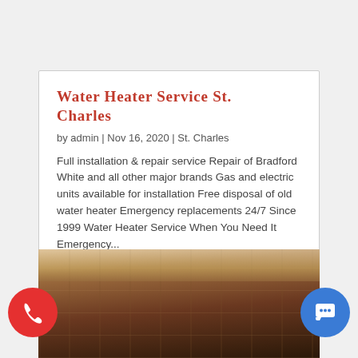Water Heater Service St. Charles
by admin | Nov 16, 2020 | St. Charles
Full installation & repair service Repair of Bradford White and all other major brands Gas and electric units available for installation Free disposal of old water heater Emergency replacements 24/7 Since 1999 Water Heater Service When You Need It Emergency...
[Figure (photo): Interior photo showing ceiling pipes and wooden beams of a building, partially visible at the bottom of the page with red phone button and blue chat button overlaid]